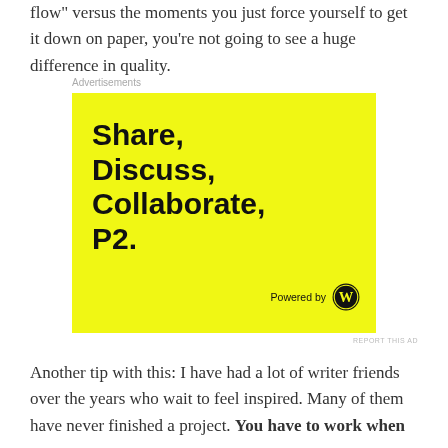flow” versus the moments you just force yourself to get it down on paper, you’re not going to see a huge difference in quality.
[Figure (illustration): Yellow advertisement banner for WordPress P2 product reading 'Share, Discuss, Collaborate, P2.' with 'Powered by WordPress' logo in bottom right corner.]
REPORT THIS AD
Another tip with this: I have had a lot of writer friends over the years who wait to feel inspired. Many of them have never finished a project. You have to work when